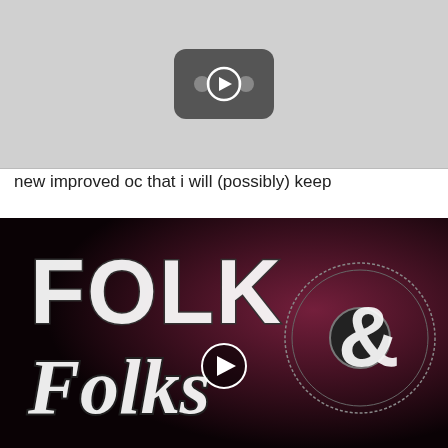[Figure (screenshot): Gray video thumbnail with a YouTube-style play button icon in the center, light gray background]
new improved oc that i will (possibly) keep
[Figure (screenshot): Dark background with Folk & Folks logo text in distressed white typography, with a play button overlay and a vinyl record graphic element]